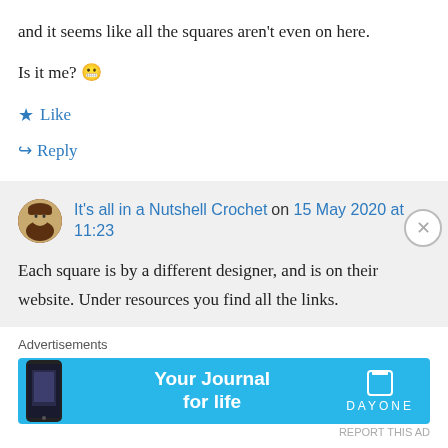and it seems like all the squares aren't even on here.
Is it me? 😬
★ Like
↪ Reply
It's all in a Nutshell Crochet on 15 May 2020 at 11:23
Each square is by a different designer, and is on their website. Under resources you find all the links.
Advertisements
[Figure (screenshot): Advertisement banner for Day One app with text 'Your Journal for life' and a phone image on blue background]